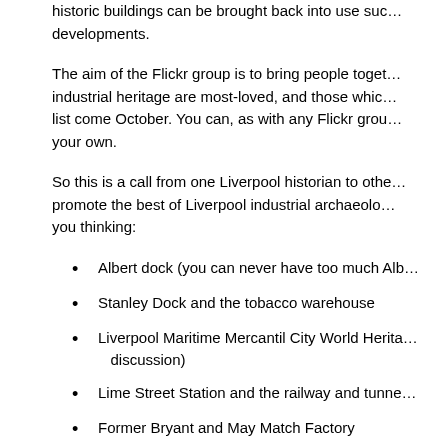historic buildings can be brought back into use such as mixed-use developments.
The aim of the Flickr group is to bring people together to identify which industrial heritage are most-loved, and those which should be on the list come October. You can, as with any Flickr group, add photos of your own.
So this is a call from one Liverpool historian to others. Help us promote the best of Liverpool industrial archaeology. To get you thinking:
Albert dock (you can never have too much Alb...
Stanley Dock and the tobacco warehouse
Liverpool Maritime Mercantil City World Herita... discussion)
Lime Street Station and the railway and tunne...
Former Bryant and May Match Factory
The Three Graces